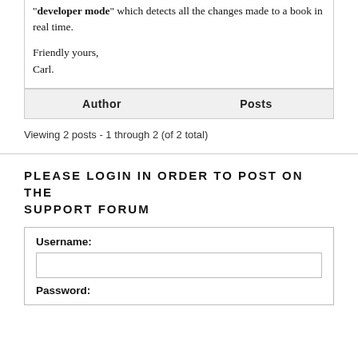"developer mode" which detects all the changes made to a book in real time.

Friendly yours,
Carl.
| Author | Posts |
| --- | --- |
Viewing 2 posts - 1 through 2 (of 2 total)
PLEASE LOGIN IN ORDER TO POST ON THE SUPPORT FORUM
Username:
Password: